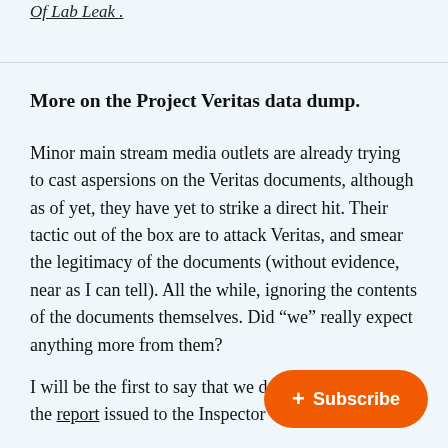Of Lab Leak .
More on the Project Veritas data dump.
Minor main stream media outlets are already trying to cast aspersions on the Veritas documents, although as of yet, they have yet to strike a direct hit. Their tactic out of the box are to attack Veritas, and smear the legitimacy of the documents (without evidence, near as I can tell). All the while, ignoring the contents of the documents themselves. Did “we” really expect anything more from them?
I will be the first to say that we don’t verification, but the report issued to the Inspector